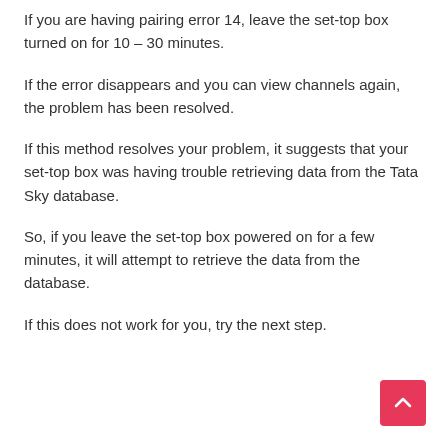If you are having pairing error 14, leave the set-top box turned on for 10 – 30 minutes.
If the error disappears and you can view channels again, the problem has been resolved.
If this method resolves your problem, it suggests that your set-top box was having trouble retrieving data from the Tata Sky database.
So, if you leave the set-top box powered on for a few minutes, it will attempt to retrieve the data from the database.
If this does not work for you, try the next step.